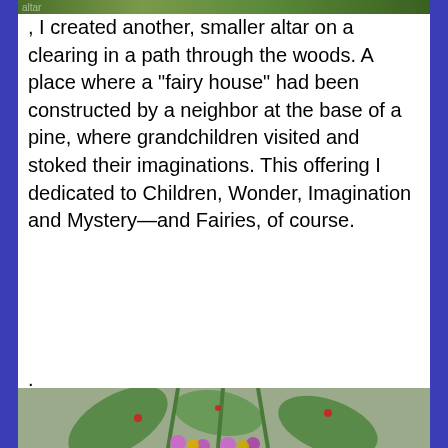[Figure (photo): Partial top edge of a photo showing an outdoor scene with foliage/altar]
, I created another, smaller altar on a clearing in a path through the woods. A place where a “fairy house” had been constructed by a neighbor at the base of a pine, where grandchildren visited and stoked their imaginations. This offering I dedicated to Children, Wonder, Imagination and Mystery—and Fairies, of course.
.
[Figure (photo): An outdoor floral arrangement/altar on ground made of large green leaves, long green stalks, purple daisy-like flowers, yellow flowers, and small red flower accents, arranged on dry grass.]